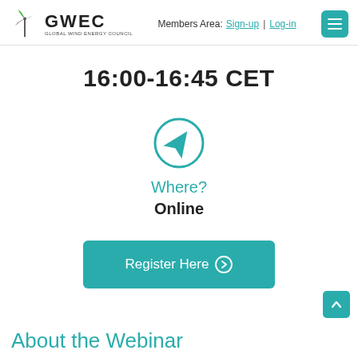GWEC | Members Area: Sign-up | Log-in
16:00-16:45 CET
[Figure (illustration): Teal circle with navigation arrow icon (location/direction pointer)]
Where?
Online
Register Here
About the Webinar